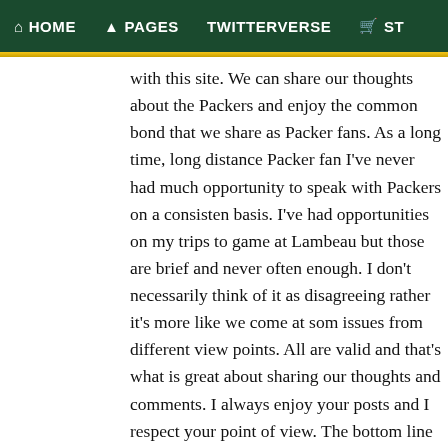HOME  PAGES  TWITTERVERSE  ST
with this site. We can share our thoughts about the Packers and enjoy the common bond that we share as Packer fans. As a long time, long distance Packer fan I've never had much opportunity to speak with Packers on a consistent basis. I've had opportunities on my trips to games at Lambeau but those are brief and never often enough. I don't necessarily think of it as disagreeing rather it's more like we come at some issues from different view points. All are valid and that's what is great about sharing our thoughts and comments. I always enjoy your posts and I respect your point of view. The bottom line is that we both want the same results for the Packers. Unfortunately we didn't achieve that result this season. But, we'll be back. Thanks, SinceA51